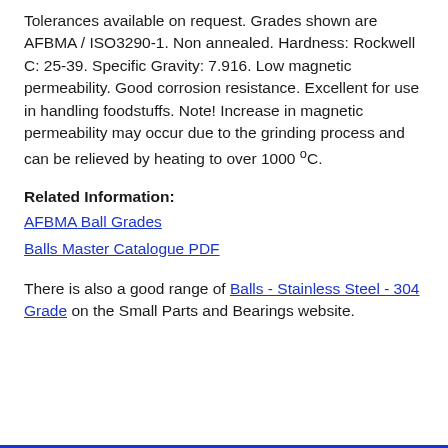Tolerances available on request. Grades shown are AFBMA / ISO3290-1. Non annealed. Hardness: Rockwell C: 25-39. Specific Gravity: 7.916. Low magnetic permeability. Good corrosion resistance. Excellent for use in handling foodstuffs. Note! Increase in magnetic permeability may occur due to the grinding process and can be relieved by heating to over 1000 °C.
Related Information:
AFBMA Ball Grades
Balls Master Catalogue PDF
There is also a good range of Balls - Stainless Steel - 304 Grade on the Small Parts and Bearings website.